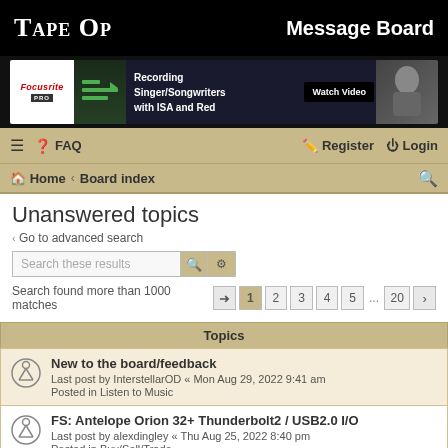TAPE OP — Message Board
[Figure (illustration): Focusrite PRO advertisement banner for Recording Singer/Songwriters with ISA and Red, with Watch Video button]
≡  FAQ    Register  Login
Home › Board index
Unanswered topics
< Go to advanced search
Search these results
Search found more than 1000 matches  1  2  3  4  5  ...  20  >
Topics
New to the board/feedback
Last post by InterstellarOD « Mon Aug 29, 2022 9:41 am
Posted in Listen to Music
FS: Antelope Orion 32+ Thunderbolt2 / USB2.0 I/O
Last post by alexdingley « Thu Aug 25, 2022 8:40 pm
Posted in Buy/Sell/Trade